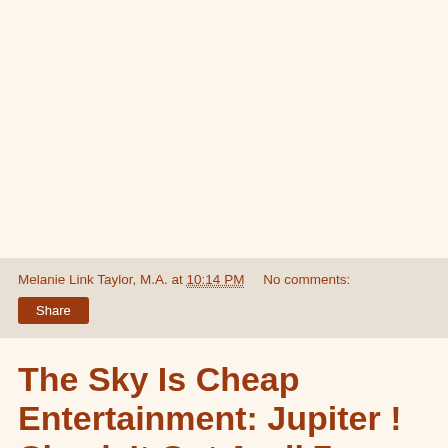Melanie Link Taylor, M.A. at 10:14 PM    No comments:
Share
The Sky Is Cheap Entertainment: Jupiter ! Check It Out April 7